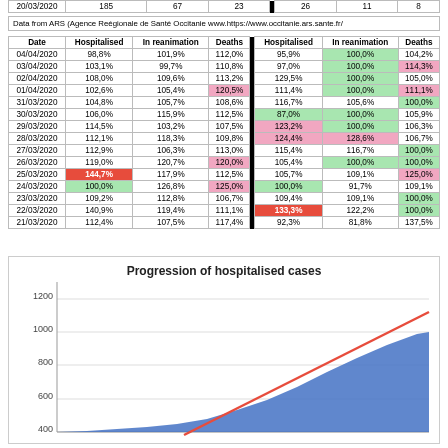| Date | Hospitalised | In reanimation | Deaths |  | Hospitalised | In reanimation | Deaths |
| --- | --- | --- | --- | --- | --- | --- | --- |
| 20/03/2020 | 185 | 67 | 23 |  | 26 | 11 | 8 |
Data from ARS (Agence Reégionale de Santé Occitanie www.https://www.occitanie.ars.sante.fr/
| Date | Hospitalised | In reanimation | Deaths |  | Hospitalised | In reanimation | Deaths |
| --- | --- | --- | --- | --- | --- | --- | --- |
| 04/04/2020 | 98,8% | 101,9% | 112,0% |  | 95,9% | 100,0% | 104,2% |
| 03/04/2020 | 103,1% | 99,7% | 110,8% |  | 97,0% | 100,0% | 114,3% |
| 02/04/2020 | 108,0% | 109,6% | 113,2% |  | 129,5% | 100,0% | 105,0% |
| 01/04/2020 | 102,6% | 105,4% | 120,5% |  | 111,4% | 100,0% | 111,1% |
| 31/03/2020 | 104,8% | 105,7% | 108,6% |  | 116,7% | 105,6% | 100,0% |
| 30/03/2020 | 106,0% | 115,9% | 112,5% |  | 87,0% | 100,0% | 105,9% |
| 29/03/2020 | 114,5% | 103,2% | 107,5% |  | 123,2% | 100,0% | 106,3% |
| 28/03/2020 | 112,1% | 118,3% | 109,8% |  | 124,4% | 128,6% | 106,7% |
| 27/03/2020 | 112,9% | 106,3% | 113,0% |  | 115,4% | 116,7% | 100,0% |
| 26/03/2020 | 119,0% | 120,7% | 120,0% |  | 105,4% | 100,0% | 100,0% |
| 25/03/2020 | 144,7% | 117,9% | 112,5% |  | 105,7% | 109,1% | 125,0% |
| 24/03/2020 | 100,0% | 126,8% | 125,0% |  | 100,0% | 91,7% | 109,1% |
| 23/03/2020 | 109,2% | 112,8% | 106,7% |  | 109,4% | 109,1% | 100,0% |
| 22/03/2020 | 140,9% | 119,4% | 111,1% |  | 133,3% | 122,2% | 100,0% |
| 21/03/2020 | 112,4% | 107,5% | 117,4% |  | 92,3% | 81,8% | 137,5% |
[Figure (area-chart): Area chart showing progression of hospitalised cases over time, with a blue filled area and a red trend line. Y-axis shows values from 400 to 1200. The blue area and red line both rise steeply toward the right side of the chart reaching approximately 1000 and 1100 respectively.]